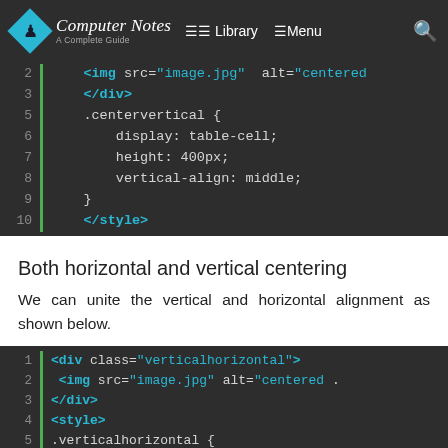Computer Notes – A Complete Guide | Library | Menu
[Figure (screenshot): Code block (top, cut off) showing lines 2-10 of CSS/HTML with .centervertical { display: table-cell; height: 400px; vertical-align: middle; } </style>]
Both horizontal and vertical centering
We can unite the vertical and horizontal alignment as shown below.
[Figure (screenshot): Code block showing lines 1-10: <div class="verticalhorizontal"> <img src="image.jpg" alt="centered ...  </div> <style> .verticalhorizontal { display: table-cell; height: 300px; text-align: center; width: 300px; vertical-align: middle;]